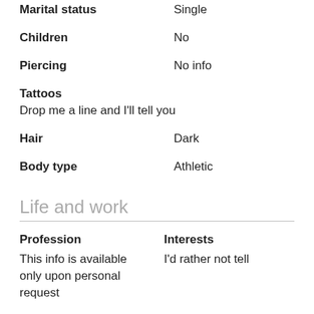Marital status — Single
Children — No
Piercing — No info
Tattoos
Drop me a line and I'll tell you
Hair — Dark
Body type — Athletic
Life and work
Profession
This info is available only upon personal request
Interests
I'd rather not tell
Education
Email me and I'll tell you